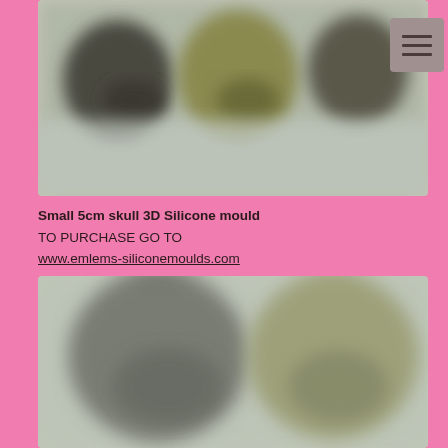[Figure (photo): Blurred image of small 3D skull silicone moulds in grey and olive green tones, top portion showing multiple skull shapes.]
Small 5cm skull 3D Silicone mould
TO PURCHASE GO TO
www.emlems-siliconemoulds.com
and type the name of the mould in the search bar on our shop.
[Figure (photo): Blurred image of small 3D skull silicone moulds in grey and olive green tones, bottom portion showing two skulls side by side.]